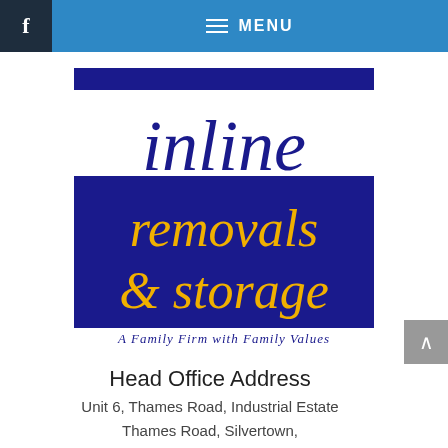f  MENU
[Figure (logo): Inline Removals & Storage logo. Blue rectangle at top, 'inline' in dark navy serif text, dark navy rectangle with gold 'removals & storage' text, tagline 'A Family Firm with Family Values' in dark navy italic below.]
Head Office Address
Unit 6, Thames Road, Industrial Estate
Thames Road, Silvertown,
LONDON, E16 2EZ